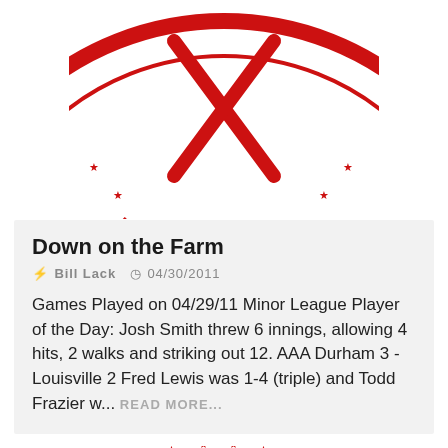[Figure (logo): Red circular baseball nation logo with crossed bats, showing the bottom arc with 'NATION' text in red, partially cropped at top]
Down on the Farm
Bill Lack  04/30/2011
Games Played on 04/29/11 Minor League Player of the Day: Josh Smith threw 6 innings, allowing 4 hits, 2 walks and striking out 12. AAA Durham 3 - Louisville 2 Fred Lewis was 1-4 (triple) and Todd Frazier w...  READ MORE...
[Figure (logo): Red circular baseball logo partially shown, featuring stars around the border and cursive 'Redleg' text in red at the bottom, cropped]